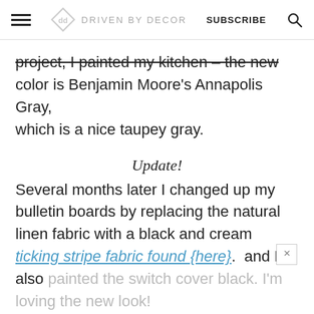DRIVEN BY DECOR  SUBSCRIBE
project, I painted my kitchen – the new color is Benjamin Moore's Annapolis Gray, which is a nice taupey gray.
Update!
Several months later I changed up my bulletin boards by replacing the natural linen fabric with a black and cream ticking stripe fabric found {here}.  and I also painted the switch cover black. I'm loving the new look!